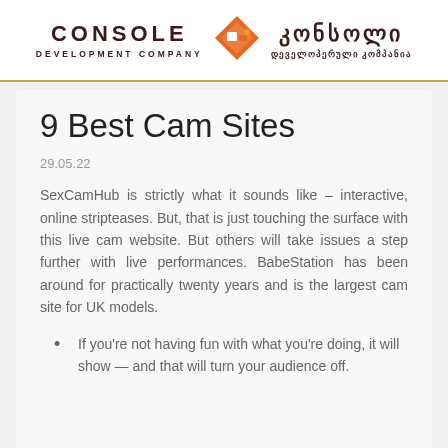CONSOLE DEVELOPMENT COMPANY | კონსოლი დეველოპერული კომპანია
9 Best Cam Sites
29.05.22
SexCamHub is strictly what it sounds like – interactive, online stripteases. But, that is just touching the surface with this live cam website. But others will take issues a step further with live performances. BabeStation has been around for practically twenty years and is the largest cam site for UK models.
If you're not having fun with what you're doing, it will show — and that will turn your audience off.